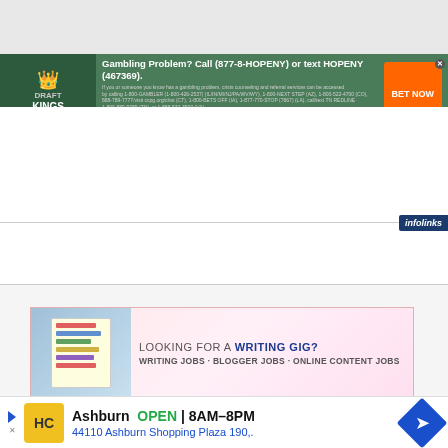[Figure (screenshot): DraftKings Sportsbook advertisement banner with gambling problem warning text, 'Gambling Problem? Call (877-8-HOPENY) or text HOPENY (467369).' and BET NOW button]
[Figure (screenshot): infolinks logo badge top right corner]
[Figure (screenshot): White empty content area (advertisement placeholder)]
[Figure (screenshot): White empty content area (advertisement placeholder)]
[Figure (screenshot): Looking For A Writing Gig? Writing Jobs - Blogger Jobs - Online Content Jobs advertisement banner]
[Figure (screenshot): infolinks logo badge bottom left]
[Figure (screenshot): HC local business ad: Ashburn OPEN 8AM-8PM, 44110 Ashburn Shopping Plaza 190,. with navigation arrow icon]